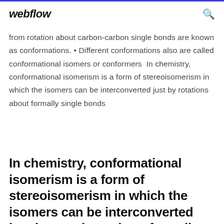webflow
from rotation about carbon-carbon single bonds are known as conformations. • Different conformations also are called conformational isomers or conformers  In chemistry, conformational isomerism is a form of stereoisomerism in which the isomers can be interconverted just by rotations about formally single bonds
In chemistry, conformational isomerism is a form of stereoisomerism in which the isomers can be interconverted just by rotations about formally